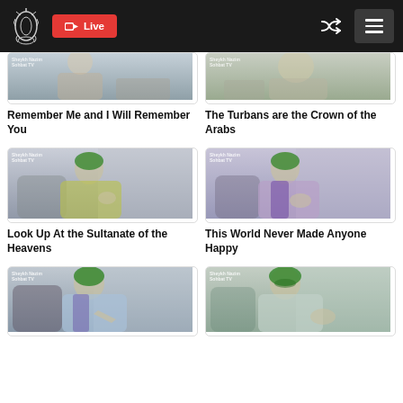Navigation bar with logo, YouTube Live button, shuffle icon, and menu
[Figure (screenshot): Thumbnail of elderly man in green turban, partial crop at top]
Remember Me and I Will Remember You
[Figure (screenshot): Thumbnail of elderly man in green turban, partial crop at top]
The Turbans are the Crown of the Arabs
[Figure (screenshot): Thumbnail of elderly man in green turban and yellow-green robe]
Look Up At the Sultanate of the Heavens
[Figure (screenshot): Thumbnail of elderly man in green turban and purple/lavender robe]
This World Never Made Anyone Happy
[Figure (screenshot): Thumbnail of elderly man in green turban, partial at bottom]
[Figure (screenshot): Thumbnail of elderly man in green turban, partial at bottom]